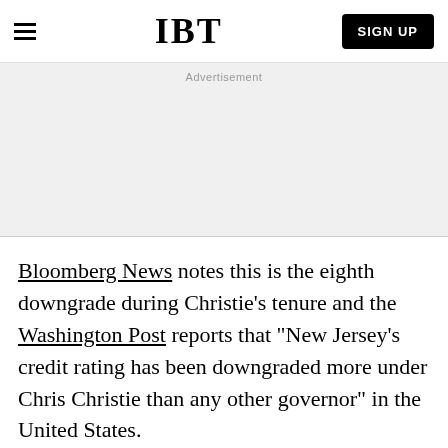IBT | SIGN UP
Advertisement
Bloomberg News notes this is the eighth downgrade during Christie's tenure and the Washington Post reports that "New Jersey's credit rating has been downgraded more under Chris Christie than any other governor" in the United States.